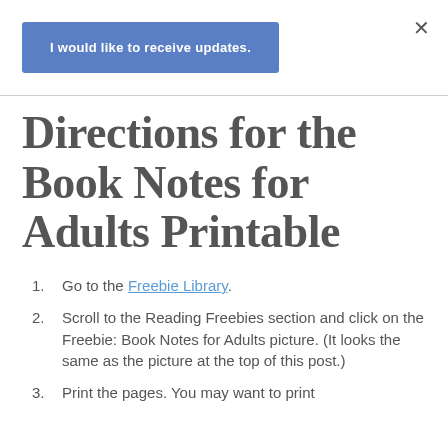[Figure (screenshot): Blue subscribe button reading 'I would like to receive updates.' with a close X in the top right corner]
Directions for the Book Notes for Adults Printable
Go to the Freebie Library.
Scroll to the Reading Freebies section and click on the Freebie: Book Notes for Adults picture. (It looks the same as the picture at the top of this post.)
Print the pages. You may want to print